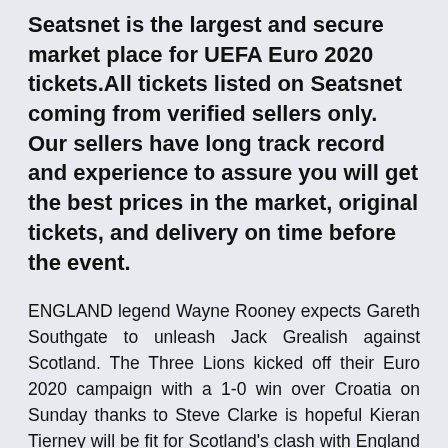Seatsnet is the largest and secure market place for UEFA Euro 2020 tickets.All tickets listed on Seatsnet coming from verified sellers only. Our sellers have long track record and experience to assure you will get the best prices in the market, original tickets, and delivery on time before the event.
ENGLAND legend Wayne Rooney expects Gareth Southgate to unleash Jack Grealish against Scotland. The Three Lions kicked off their Euro 2020 campaign with a 1-0 win over Croatia on Sunday thanks to Steve Clarke is hopeful Kieran Tierney will be fit for Scotland's clash with England after missing their Euro 2020 opener through injury. The mayor of London, Scottish